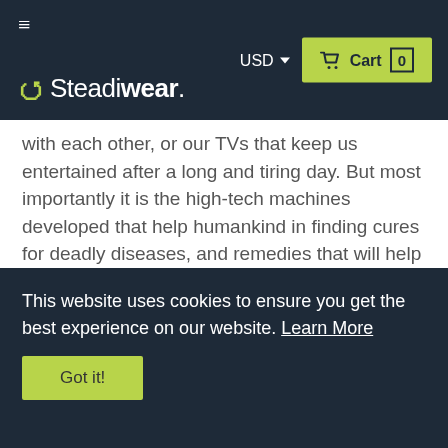≡  Steadiwear.  USD ▾  🛒 Cart 0
with each other, or our TVs that keep us entertained after a long and tiring day. But most importantly it is the high-tech machines developed that help humankind in finding cures for deadly diseases, and remedies that will help ease any virus symptoms. Also, some inventions like the Magnetic Resonance Imaging (MRI) can really help in diagnosing some diseases that a person might encounter.
But the real question is, can an MRI scan tell if
This website uses cookies to ensure you get the best experience on our website. Learn More
Got it!